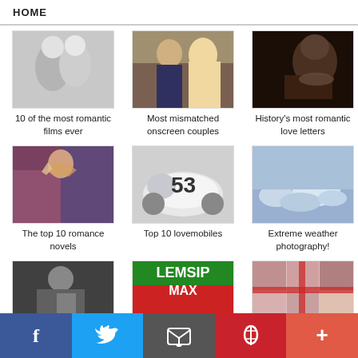HOME
[Figure (photo): Black and white romantic sculpture/couple embracing]
10 of the most romantic films ever
[Figure (photo): Mismatched onscreen couple, young man and blonde woman]
Most mismatched onscreen couples
[Figure (photo): Elderly bearded man writing, historical portrait]
History's most romantic love letters
[Figure (photo): Woman with angel wings, romance novel style]
The top 10 romance novels
[Figure (photo): Volkswagen Beetle car number 53, Herbie the Love Bug]
Top 10 lovemobiles
[Figure (photo): Extreme cloud weather photography, mammatus clouds]
Extreme weather photography!
[Figure (photo): Black and white photo of woman reading]
[Figure (logo): Lemsip Max product advertisement/logo]
[Figure (photo): Collage of romantic movie scenes with red ribbon]